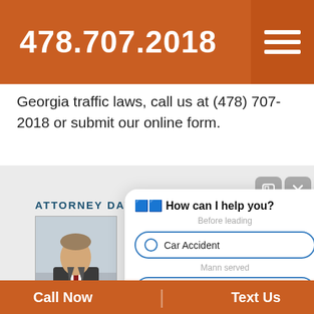478.707.2018
Georgia traffic laws, call us at (478) 707-2018 or submit our online form.
[Figure (photo): Section showing Attorney David Mann with photo of attorney in suit and chat popup overlay with options: Car Accident, Workers' Compensation, Nursing Home]
Call Now | Text Us